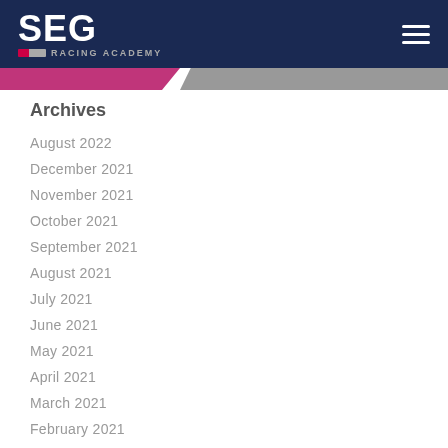SEG Racing Academy
Archives
August 2022
December 2021
November 2021
October 2021
September 2021
August 2021
July 2021
June 2021
May 2021
April 2021
March 2021
February 2021
January 2021
December 2020